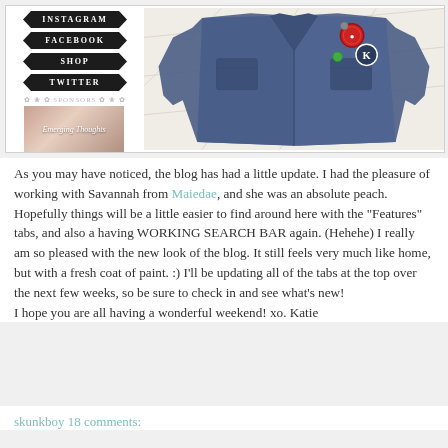[Figure (screenshot): Blog screenshot showing sidebar navigation buttons (INSTAGRAM, FACEBOOK, SHOP, TWITTER), SPONSORS section with sponsor image 'Emerging Thoughts', and a photo of a denim vest with pins/buttons]
As you may have noticed, the blog has had a little update.  I had the pleasure of working with Savannah from Maiedae, and she was an absolute peach.  Hopefully things will be a little easier to find around here with the "Features" tabs, and also a having WORKING SEARCH BAR again.  (Hehehe)  I really am so pleased with the new look of the blog.  It still feels very much like home, but with a fresh coat of paint.  :)  I'll be updating all of the tabs at the top over the next few weeks, so be sure to check in and see what's new!
I hope you are all having a wonderful weekend!  xo. Katie
skunkboy      18 comments: